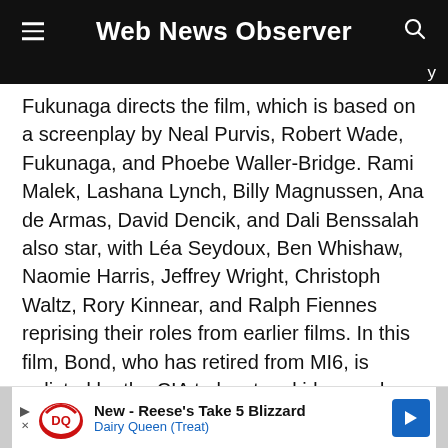Web News Observer
Fukunaga directs the film, which is based on a screenplay by Neal Purvis, Robert Wade, Fukunaga, and Phoebe Waller-Bridge. Rami Malek, Lashana Lynch, Billy Magnussen, Ana de Armas, David Dencik, and Dali Benssalah also star, with Léa Seydoux, Ben Whishaw, Naomie Harris, Jeffrey Wright, Christoph Waltz, Rory Kinnear, and Ralph Fiennes reprising their roles from earlier films. In this film, Bond, who has retired from MI6, is enlisted by the CIA to locate a kidnapped scientist, which leads to a confrontation with a formidable foe.
[Figure (other): Advertisement banner: New - Reese's Take 5 Blizzard, Dairy Queen (Treat)]